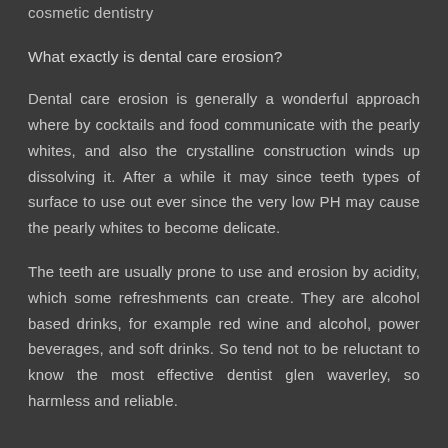cosmetic dentistry
What exactly is dental care erosion?
Dental care erosion is generally a wonderful approach where by cocktails and food communicate with the pearly whites, and also the crystalline construction winds up dissolving it. After a while it may since teeth types of surface to use out ever since the very low PH may cause the pearly whites to become delicate.
The teeth are usually prone to use and erosion by acidity, which some refreshments can create. They are alcohol based drinks, for example red wine and alcohol, power beverages, and soft drinks. So tend not to be reluctant to know the most effective dentist glen waverley, so harmless and reliable.